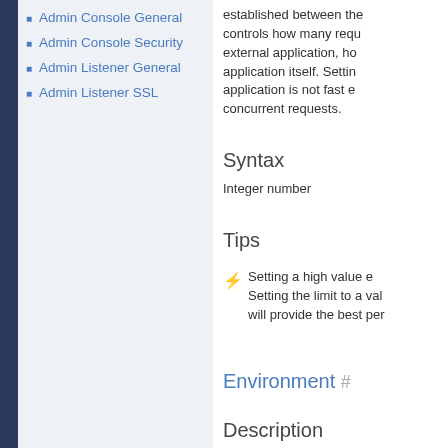Admin Console General
Admin Console Security
Admin Listener General
Admin Listener SSL
established between the controls how many requ external application, ho application itself. Settin application is not fast e concurrent requests.
Syntax
Integer number
Tips
⚡ Setting a high value e Setting the limit to a val will provide the best per
Environment #
Description
Specifies extra environm